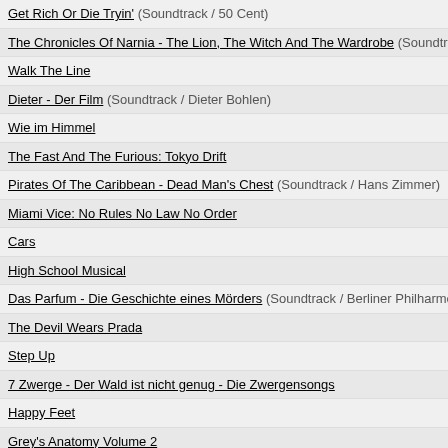Get Rich Or Die Tryin' (Soundtrack / 50 Cent)
The Chronicles Of Narnia - The Lion, The Witch And The Wardrobe (Soundtrack / Harry Greg...)
Walk The Line
Dieter - Der Film (Soundtrack / Dieter Bohlen)
Wie im Himmel
The Fast And The Furious: Tokyo Drift
Pirates Of The Caribbean - Dead Man's Chest (Soundtrack / Hans Zimmer)
Miami Vice: No Rules No Law No Order
Cars
High School Musical
Das Parfum - Die Geschichte eines Mörders (Soundtrack / Berliner Philharmoniker / Simon Ra...)
The Devil Wears Prada
Step Up
7 Zwerge - Der Wald ist nicht genug - Die Zwergensongs
Happy Feet
Grey's Anatomy Volume 2
Grey's Anatomy
Dreamgirls
Die wilden Kerle 4 - der Soundtrack (Soundtrack / Bananafishbones)
Music And Lyrics
Spider-Man 3
Pirates Of The Caribbean - At Worlds End (Soundtrack / Hans Zimmer)
Shrek - The Third
Quentin Tarantino's "Death Proof"
The Simpsons (Soundtrack / Hans Zimmer)
Transformers